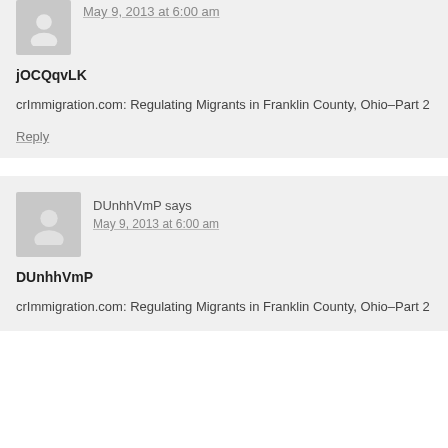May 9, 2013 at 6:00 am
jOCQqvLK
crImmigration.com: Regulating Migrants in Franklin County, Ohio–Part 2
Reply
DUnhhVmP says
May 9, 2013 at 6:00 am
DUnhhVmP
crImmigration.com: Regulating Migrants in Franklin County, Ohio–Part 2